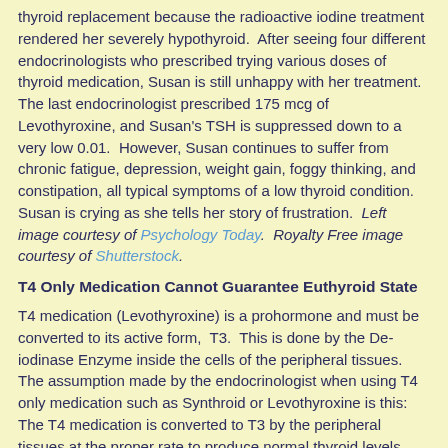thyroid replacement because the radioactive iodine treatment rendered her severely hypothyroid. After seeing four different endocrinologists who prescribed trying various doses of thyroid medication, Susan is still unhappy with her treatment. The last endocrinologist prescribed 175 mcg of Levothyroxine, and Susan's TSH is suppressed down to a very low 0.01. However, Susan continues to suffer from chronic fatigue, depression, weight gain, foggy thinking, and constipation, all typical symptoms of a low thyroid condition. Susan is crying as she tells her story of frustration. Left image courtesy of Psychology Today. Royalty Free image courtesy of Shutterstock.
T4 Only Medication Cannot Guarantee Euthyroid State
T4 medication (Levothyroxine) is a prohormone and must be converted to its active form, T3. This is done by the De-iodinase Enzyme inside the cells of the peripheral tissues. The assumption made by the endocrinologist when using T4 only medication such as Synthroid or Levothyroxine is this: The T4 medication is converted to T3 by the peripheral tissues at the proper rate to produce normal thyroid levels. However, Dr Daminano Gullo from Italy reported in 2011 this is not the case for about 20% of patients